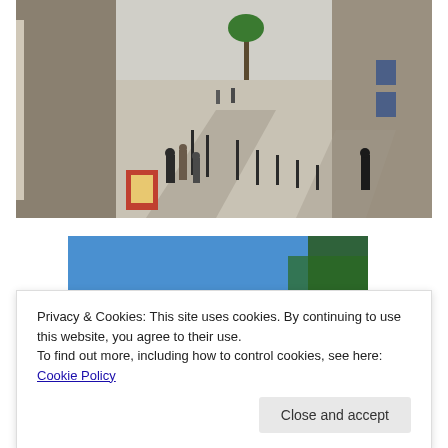[Figure (photo): Aerial/elevated view of a European pedestrian street with stone paving, historic buildings on both sides, people walking, bollards, a palm tree, and sunshine casting long shadows. Likely a French city street scene.]
[Figure (photo): Partial view of a second photo showing a bright blue sky and the top of a tree, likely another outdoor scene in the same European city.]
Privacy & Cookies: This site uses cookies. By continuing to use this website, you agree to their use.
To find out more, including how to control cookies, see here: Cookie Policy
[Figure (photo): Bottom partial photo showing an outdoor urban scene, partially cut off at the bottom of the page.]